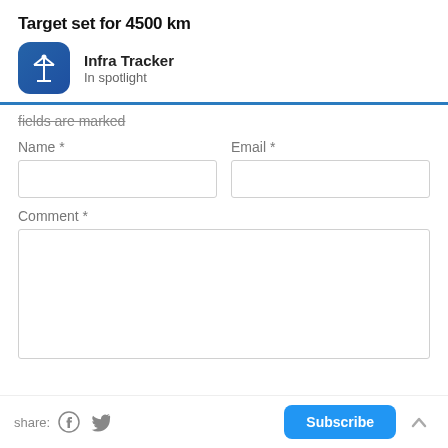Target set for 4500 km
Infra Tracker
In spotlight
fields are marked
Name *
Email *
Comment *
share: [WhatsApp] [Twitter] Subscribe ^